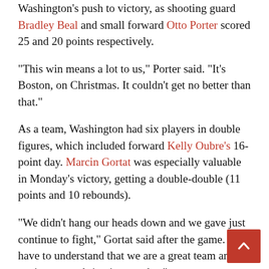Washington's push to victory, as shooting guard Bradley Beal and small forward Otto Porter scored 25 and 20 points respectively.
“This win means a lot to us,” Porter said. “It’s Boston, on Christmas. It couldn’t get no better than that.”
As a team, Washington had six players in double figures, which included forward Kelly Oubre’s 16-point day. Marcin Gortat was especially valuable in Monday’s victory, getting a double-double (11 points and 10 rebounds).
“We didn’t hang our heads down and we gave just continue to fight,” Gortat said after the game. “We have to understand that we are a great team and we just got to bring it everyday.”